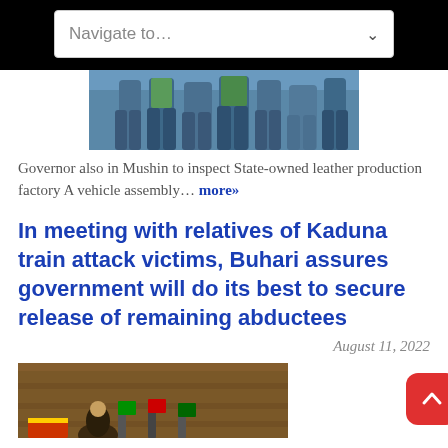Navigate to…
[Figure (photo): Partial photo of people's legs/lower bodies, appears to be an outdoor group photo]
Governor also in Mushin to inspect State-owned leather production factory A vehicle assembly… more»
In meeting with relatives of Kaduna train attack victims, Buhari assures government will do its best to secure release of remaining abductees
August 11, 2022
[Figure (photo): Partial photo showing a wooden interior, possibly a meeting room with flags]